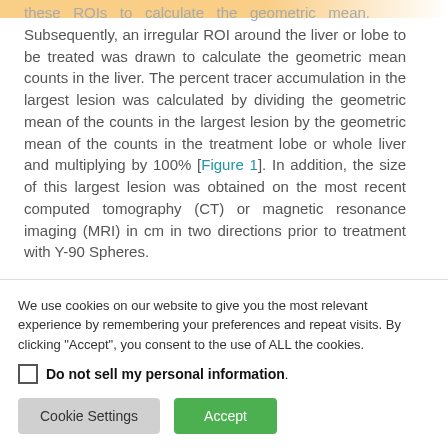these ROIs to calculate the geometric mean. Subsequently, an irregular ROI around the liver or lobe to be treated was drawn to calculate the geometric mean counts in the liver. The percent tracer accumulation in the largest lesion was calculated by dividing the geometric mean of the counts in the largest lesion by the geometric mean of the counts in the treatment lobe or whole liver and multiplying by 100% [Figure 1]. In addition, the size of this largest lesion was obtained on the most recent computed tomography (CT) or magnetic resonance imaging (MRI) in cm in two directions prior to treatment with Y-90 Spheres.
We use cookies on our website to give you the most relevant experience by remembering your preferences and repeat visits. By clicking "Accept", you consent to the use of ALL the cookies.
Do not sell my personal information.
Cookie Settings | Accept